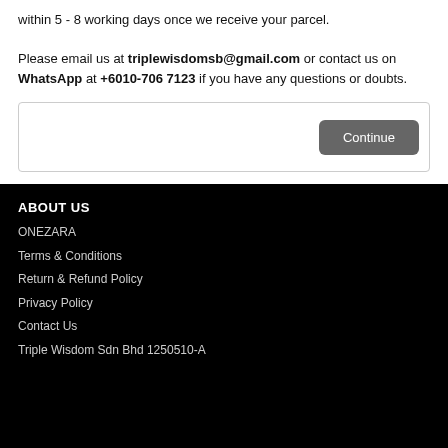within 5 - 8 working days once we receive your parcel.
Please email us at triplewisdomsb@gmail.com or contact us on WhatsApp at +6010-706 7123 if you have any questions or doubts.
[Figure (other): Form-like bar with a Continue button on the right]
ABOUT US
ONEZARA
Terms & Conditions
Return & Refund Policy
Privacy Policy
Contact Us
Triple Wisdom Sdn Bhd 1250510-A